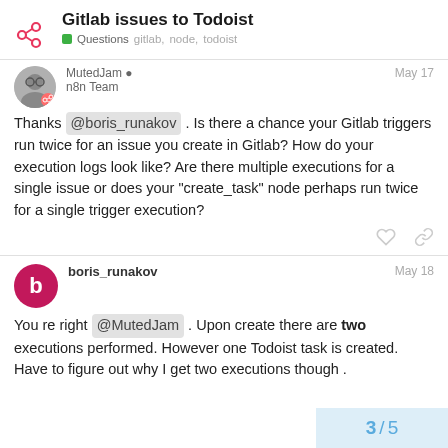Gitlab issues to Todoist
Questions  gitlab,  node,  todoist
MutedJam  n8n Team   May 17
Thanks @boris_runakov . Is there a chance your Gitlab triggers run twice for an issue you create in Gitlab? How do your execution logs look like? Are there multiple executions for a single issue or does your "create_task" node perhaps run twice for a single trigger execution?
boris_runakov   May 18
You re right @MutedJam . Upon create there are two executions performed. However one Todoist task is created. Have to figure out why I get two executions though .
3 / 5